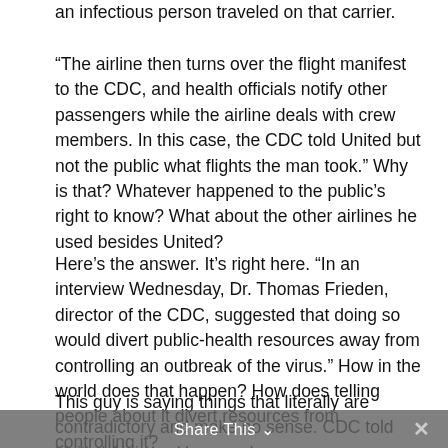an infectious person traveled on that carrier.
“The airline then turns over the flight manifest to the CDC, and health officials notify other passengers while the airline deals with crew members. In this case, the CDC told United but not the public what flights the man took.” Why is that? Whatever happened to the public’s right to know? What about the other airlines he used besides United?
Here’s the answer. It’s right here. “In an interview Wednesday, Dr. Thomas Frieden, director of the CDC, suggested that doing so would divert public-health resources away from controlling an outbreak of the virus.” How in the world does that happen? How does telling people about it divert resources from controlling it?
This guy is saying things that literally are contradictory and make no sense. CDC told United Airlines. How much more resources would it take for them to tell other airlines and the public in general? The bottom line is they know things they’re not telling you. We know why. They’re